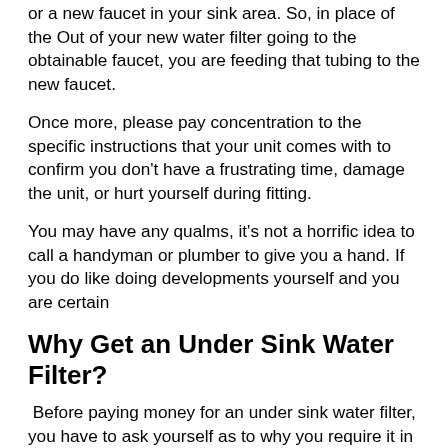or a new faucet in your sink area. So, in place of the Out of your new water filter going to the obtainable faucet, you are feeding that tubing to the new faucet.
Once more, please pay concentration to the specific instructions that your unit comes with to confirm you don't have a frustrating time, damage the unit, or hurt yourself during fitting.
You may have any qualms, it's not a horrific idea to call a handyman or plumber to give you a hand. If you do like doing developments yourself and you are certain
Why Get an Under Sink Water Filter?
Before paying money for an under sink water filter, you have to ask yourself as to why you require it in the first place. Cause being, there are whole house water filter systems available on the market, which competently filter…